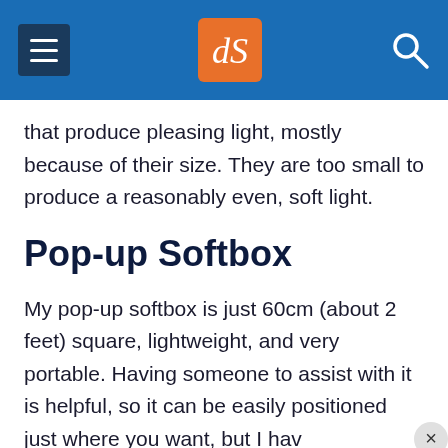dPS [logo] navigation header
that produce pleasing light, mostly because of their size. They are too small to produce a reasonably even, soft light.
Pop-up Softbox
My pop-up softbox is just 60cm (about 2 feet) square, lightweight, and very portable. Having someone to assist with it is helpful, so it can be easily positioned just where you want, but I hav